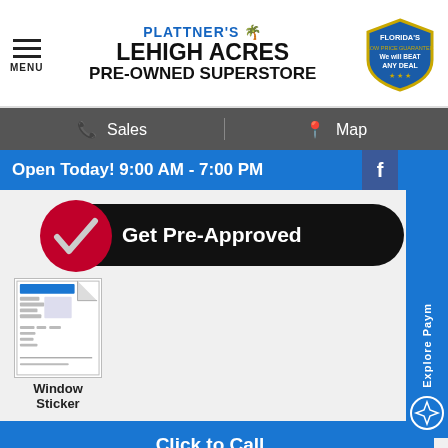PLATTNER'S LEHIGH ACRES PRE-OWNED SUPERSTORE
MENU
Sales  Map
Open Today! 9:00 AM - 7:00 PM
[Figure (infographic): Get Pre-Approved button with red checkmark circle]
[Figure (photo): Window Sticker document thumbnail]
Window Sticker
Click to Call
Ext. Color: Black Cherry Pearl   Int. Color: Black
Transmission: Automatic
Stock: 5776436B
Engine: 4 Cylinders
[Figure (infographic): Value Your Trade rounded blue button]
Explore Paym